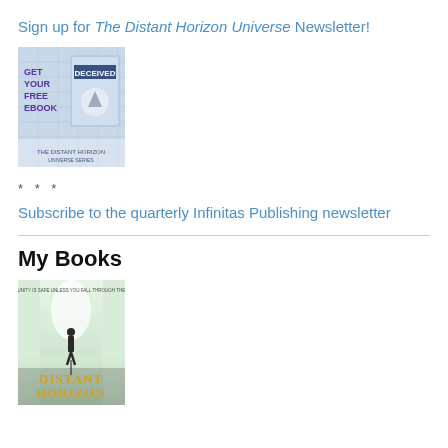Sign up for The Distant Horizon Universe Newsletter!
[Figure (illustration): GET YOUR FREE EBOOK banner showing the book 'Deceived' cover]
* * *
Subscribe to the quarterly Infinitas Publishing newsletter
My Books
[Figure (illustration): Book cover for 'Distant Horizon' showing a person walking down a bright corridor]